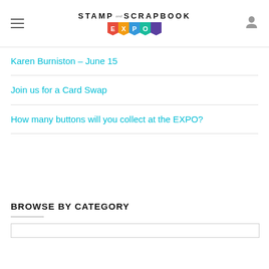Stamp and Scrapbook EXPO
Karen Burniston – June 15
Join us for a Card Swap
How many buttons will you collect at the EXPO?
BROWSE BY CATEGORY